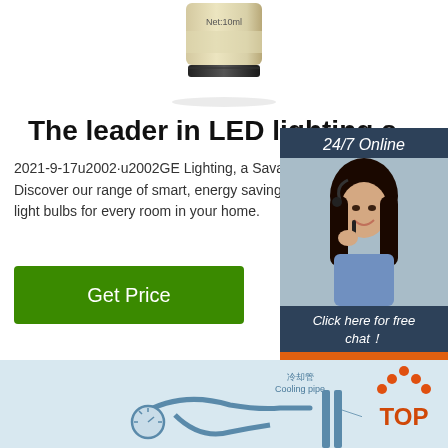[Figure (photo): Bottom portion of a bottle product with 'Net:10ml' label, beige/cream colored]
The leader in LED lighting s
2021-9-17u2002·u2002GE Lighting, a Savant co Discover our range of smart, energy saving, LED light bulbs for every room in your home.
[Figure (other): Green 'Get Price' button]
[Figure (photo): 24/7 Online chat widget with photo of smiling woman wearing headset, dark blue background, 'Click here for free chat!' text, and orange QUOTATION button]
[Figure (engineering-diagram): Diagram showing cooling pipe (冷却管) and radiator tube (散热管) components with Chinese and English labels, light blue background. TOP logo with orange dots in upper right.]